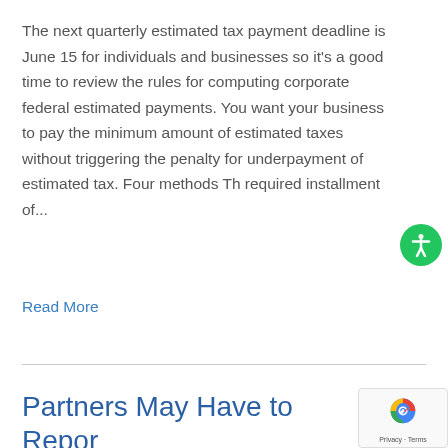The next quarterly estimated tax payment deadline is June 15 for individuals and businesses so it's a good time to review the rules for computing corporate federal estimated payments. You want your business to pay the minimum amount of estimated taxes without triggering the penalty for underpayment of estimated tax. Four methods The required installment of...
Read More
Partners May Have to Report More on their Tax Ret...